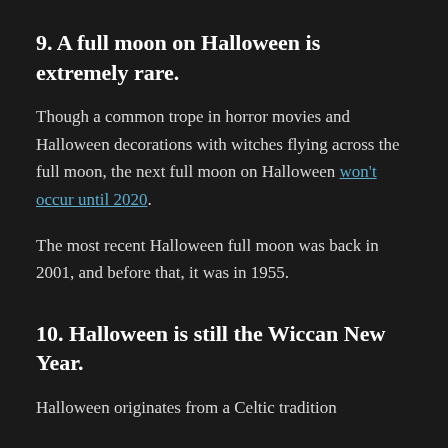9. A full moon on Halloween is extremely rare.
Though a common trope in horror movies and Halloween decorations with witches flying across the full moon, the next full moon on Halloween won't occur until 2020.
The most recent Halloween full moon was back in 2001, and before that, it was in 1955.
10. Halloween is still the Wiccan New Year.
Halloween originates from a Celtic tradition